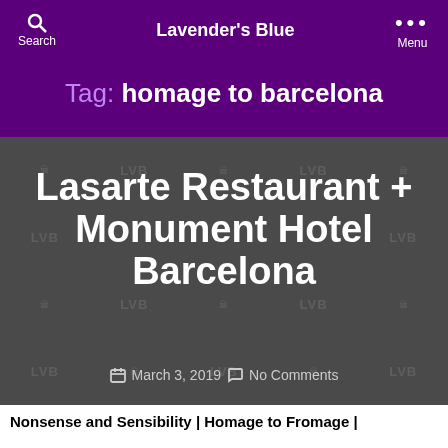Lavender's Blue
Tag: homage to barcelona
Lasarte Restaurant + Monument Hotel Barcelona
March 3, 2019   No Comments
Nonsense and Sensibility | Homage to Fromage |